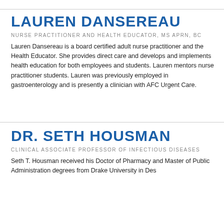LAUREN DANSEREAU
NURSE PRACTITIONER AND HEALTH EDUCATOR, MS APRN, BC
Lauren Dansereau is a board certified adult nurse practitioner and the Health Educator. She provides direct care and develops and implements health education for both employees and students. Lauren mentors nurse practitioner students. Lauren was previously employed in gastroenterology and is presently a clinician with AFC Urgent Care.
DR. SETH HOUSMAN
CLINICAL ASSOCIATE PROFESSOR OF INFECTIOUS DISEASES
Seth T. Housman received his Doctor of Pharmacy and Master of Public Administration degrees from Drake University in Des